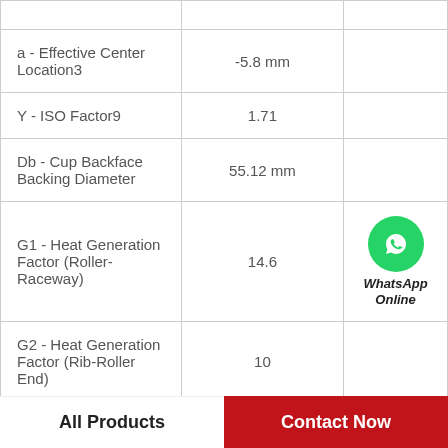| Parameter | Value |  |
| --- | --- | --- |
| a - Effective Center Location3 | -5.8 mm |  |
| Y - ISO Factor9 | 1.71 |  |
| Db - Cup Backface Backing Diameter | 55.12 mm |  |
| G1 - Heat Generation Factor (Roller-Raceway) | 14.6 | WhatsApp Online |
| G2 - Heat Generation Factor (Rib-Roller End) | 10 |  |
| Ab - Cage-Cone | 1.8 mm |  |
All Products
Contact Now